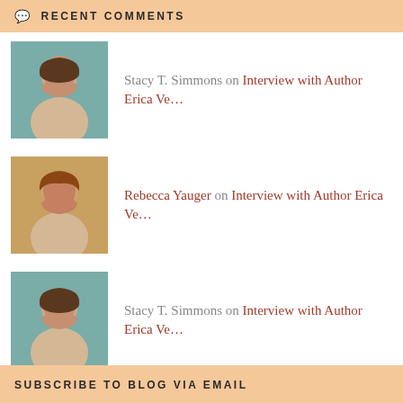RECENT COMMENTS
Stacy T. Simmons on Interview with Author Erica Ve…
Rebecca Yauger on Interview with Author Erica Ve…
Stacy T. Simmons on Interview with Author Erica Ve…
Rebecca Yauger on The Waiting
Rebecca Yauger on The Waiting
SUBSCRIBE TO BLOG VIA EMAIL